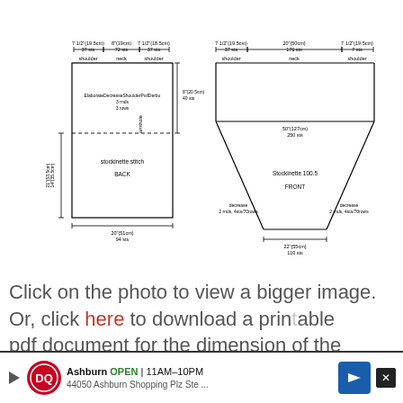[Figure (schematic): Knitting pattern schematic showing two garment pieces: a rectangular BACK piece on the left with shoulder, neck, and shoulder labels, armhole measurements, and stitch counts; and a trapezoidal FRONT piece on the right with shoulder, neck, and shoulder labels, decreasing width toward the bottom, with measurements for width and stitch counts including decrease sections. Measurements given in inches/cm and stitches (sts). Back piece is approximately 21"(53.5cm) tall and 20"(51cm) wide with armhole 8"(20.5cm). Front piece is wider at top (~50" / 250sts) tapering to ~22"(55cm)/110sts at bottom.]
Click on the photo to view a bigger image.
Or, click here to download a printable pdf document for the dimension of the
[Figure (infographic): Advertisement bar at the bottom: Dairy Queen logo, Ashburn OPEN 11AM-10PM, 44050 Ashburn Shopping Plz Ste..., with a blue navigation arrow icon on the right.]